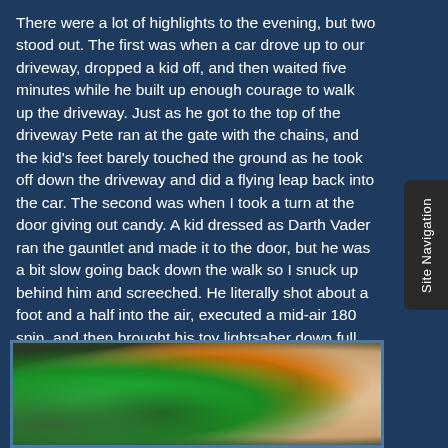There were a lot of highlights to the evening, but two stood out. The first was when a car drove up to our driveway, dropped a kid off, and then waited five minutes while he built up enough courage to walk up the driveway. Just as he got to the top of the driveway Pete ran at the gate with the chains, and the kid's feet barely touched the ground as he took off down the driveway and did a flying leap back into the car. The second was when I took a turn at the door giving out candy. A kid dressed as Darth Vader ran the gauntlet and made it to the door, but he was a bit slow going back down the walk so I snuck up behind him and screeched. He literally shot about a foot and a half into the air, executed a mid-air 180 spin, and then brought his toy lightsaber down full force on my head before running away. Totally classic.
[Figure (photo): A dimly lit indoor scene with green lighting on the left side, a bright orange/yellow light source in the center-right, and warm beige tones on the right. Appears to be a Halloween-decorated area.]